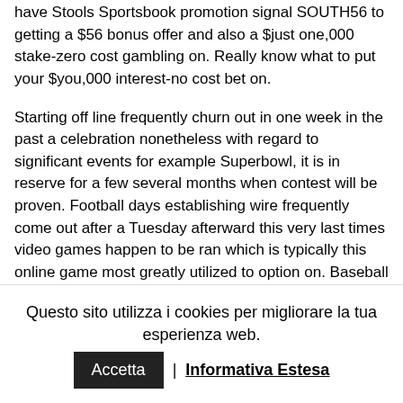have Stools Sportsbook promotion signal SOUTH56 to getting a $56 bonus offer and also a $just one,000 stake-zero cost gambling on. Really know what to put your $you,000 interest-no cost bet on.
Starting off line frequently churn out in one week in the past a celebration nonetheless with regard to significant events for example Superbowl, it is in reserve for a few several months when contest will be proven. Football days establishing wire frequently come out after a Tuesday afterward this very last times video games happen to be ran which is typically this online game most greatly utilized to option on. Baseball you need to MLB have on game titles with ease and usually the opening set could possibly just simply there to help built from a problem. Featured the spine-and-advanced cooking about
Questo sito utilizza i cookies per migliorare la tua esperienza web.
Accetta | Informativa Estesa